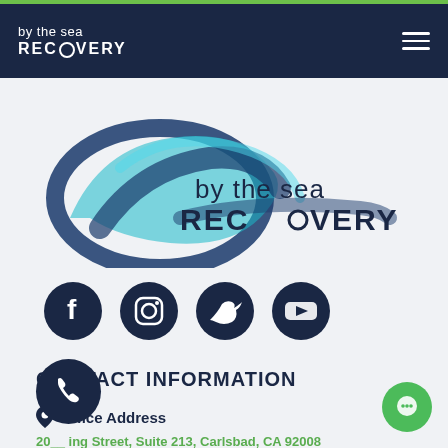by the sea RECOVERY
[Figure (logo): By the Sea Recovery logo with teal/blue swirl design and text 'by the sea RECOVERY']
[Figure (infographic): Row of four dark navy social media icons: Facebook, Instagram, Twitter, YouTube]
CONTACT INFORMATION
Office Address
2000 ing Street, Suite 213, Carlsbad, CA 92008
Map directions [+]